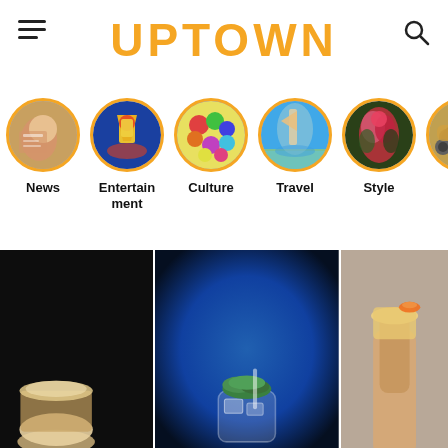UPTOWN
News
Entertainment
Culture
Travel
Style
Auto
[Figure (photo): Three side-by-side food/cocktail photos forming a horizontal strip at the bottom of the page]
[Figure (photo): Left panel: dark background with a light-colored creamy cocktail drink at bottom]
[Figure (photo): Center panel: blue gradient background with a cocktail glass topped with green garnish and ice]
[Figure (photo): Right panel: warm gray background with a hand holding a cocktail with orange garnish]